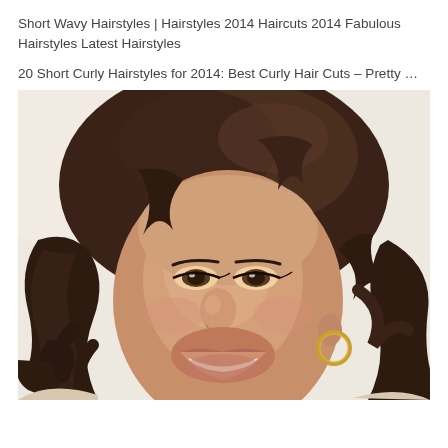Short Wavy Hairstyles | Hairstyles 2014 Haircuts 2014 Fabulous Hairstyles Latest Hairstyles
20 Short Curly Hairstyles for 2014: Best Curly Hair Cuts – Pretty …
[Figure (photo): A smiling young woman with short curly/wavy dark brown hair, wearing gold hoop earrings, photographed against a light beige/white background. Her hair is voluminous and curly, framing her face.]